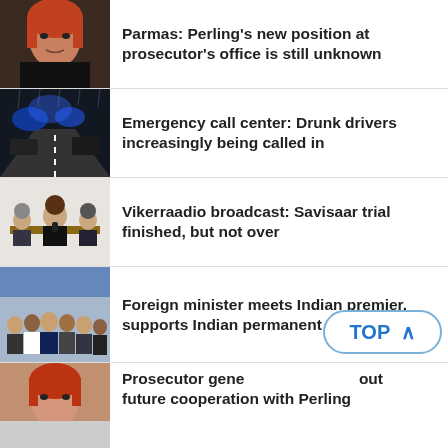[Figure (photo): Woman with auburn hair in a dark jacket, formal portrait]
Parmas: Perling's new position at prosecutor's office is still unknown
[Figure (photo): Night road scene with blue police lights and rain]
Emergency call center: Drunk drivers increasingly being called in
[Figure (photo): Courtroom scene with people at a bench]
Vikerraadio broadcast: Savisaar trial finished, but not over
[Figure (photo): Group photo at formal meeting with suited officials]
Foreign minister meets Indian premier, supports Indian permanent UNSC seat
[Figure (photo): Woman with red hair, partial view]
Prosecutor gene... ...out future cooperation with Perling